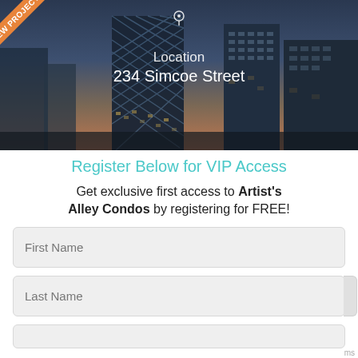[Figure (photo): Night/dusk cityscape with modern buildings including a distinctive lattice-patterned tower, with location overlay showing '234 Simcoe Street' and a 'NEW PROJECT' ribbon badge in the top-left corner]
Register Below for VIP Access
Get exclusive first access to Artist's Alley Condos by registering for FREE!
First Name
Last Name